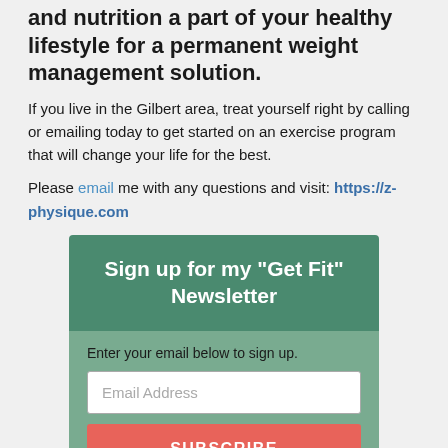and nutrition a part of your healthy lifestyle for a permanent weight management solution.
If you live in the Gilbert area, treat yourself right by calling or emailing today to get started on an exercise program that will change your life for the best.
Please email me with any questions and visit: https://z-physique.com
[Figure (infographic): Newsletter signup box with green header reading 'Sign up for my "Get Fit" Newsletter', light green body with email input field and red SUBSCRIBE button.]